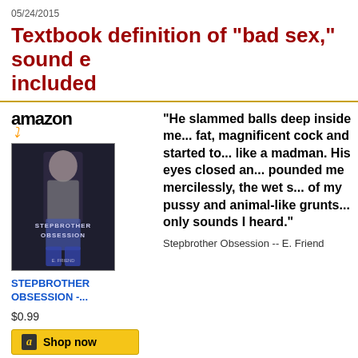05/24/2015
Textbook definition of "bad sex," sound e... included
[Figure (other): Amazon product widget showing book cover for 'Stepbrother Obsession' by E. Friend, priced at $0.99 with a Shop now button]
"He slammed balls deep inside me... fat, magnificent cock and started to... like a madman. His eyes closed and... pounded me mercilessly, the wet s... of my pussy and animal-like grunts... only sounds I heard."
Stepbrother Obsession -- E. Friend
Posted at 11:02 AM in Animal Husbandry, Books, Dislocated Members, Excretions, Futu... Insanity, Sexual, Spelunking, Washing | Permalink | Comments (0)
Reblog (0)  Digg This  Save to del.icio.us  Tweet
05/22/2015